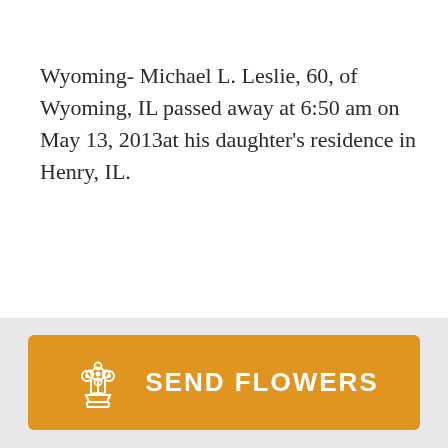Wyoming- Michael L. Leslie, 60, of Wyoming, IL passed away at 6:50 am on May 13, 2013at his daughter's residence in Henry, IL.
He was born on March 30, 1953 in Streator, IL the son of the late
[Figure (other): Orange 'Send Flowers' button with a flower bouquet icon on a gray background bar]